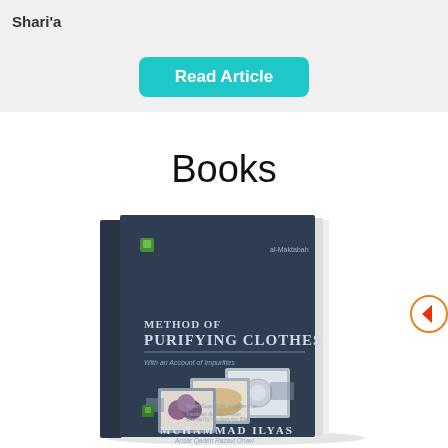Shari'a
Read Article
Books
[Figure (photo): Book cover of 'Method of Purifying Clothes' by Muhammad Ilyas, dark blue cover with photographs of washing/laundry items and author name at the bottom.]